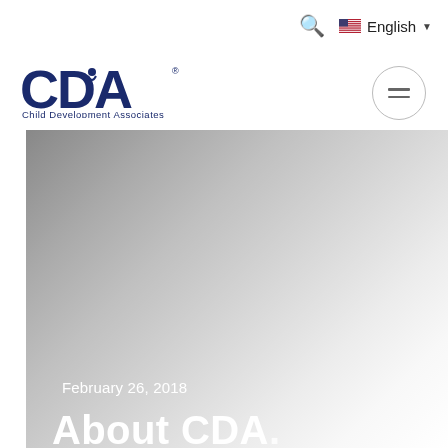Search  English ▼
[Figure (logo): CDA Child Development Associates logo in dark navy blue]
[Figure (photo): Hero image with gradient gray background, date 'February 26, 2018' in white, and partial large white title text at the bottom]
February 26, 2018